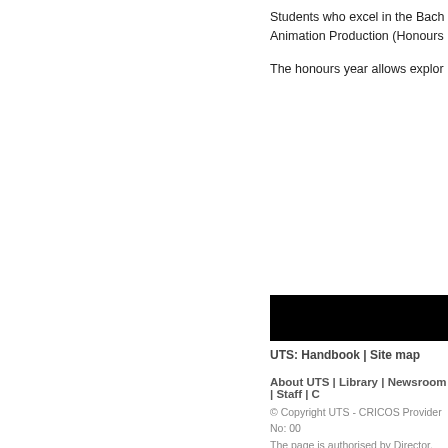Students who excel in the Bach... Animation Production (Honours...
The honours year allows explor...
[Figure (other): Black redacted/navigation bar]
UTS: Handbook | Site map
About UTS | Library | Newsroom | Staff | ...
© Copyright UTS - CRICOS Provider No: 00... The page is authorised by Director, Institute... Send comments to APO Disclaimer | Privacy | Copyright | Accessibili...